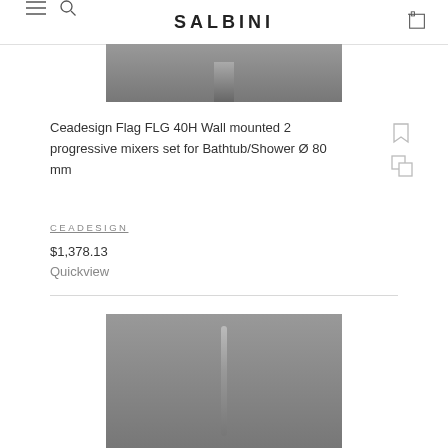SALBINI
[Figure (photo): Top portion of a bathroom mixer product on gray background]
Ceadesign Flag FLG 40H Wall mounted 2 progressive mixers set for Bathtub/Shower Ø 80 mm
CEADESIGN
$1,378.13
Quickview
[Figure (photo): Bottom portion of a bathroom mixer product on gray background]